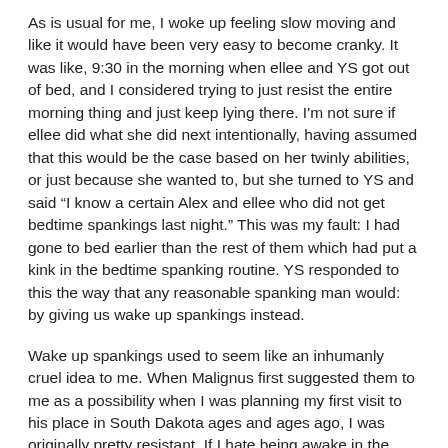As is usual for me, I woke up feeling slow moving and like it would have been very easy to become cranky. It was like, 9:30 in the morning when ellee and YS got out of bed, and I considered trying to just resist the entire morning thing and just keep lying there. I'm not sure if ellee did what she did next intentionally, having assumed that this would be the case based on her twinly abilities, or just because she wanted to, but she turned to YS and said “I know a certain Alex and ellee who did not get bedtime spankings last night.” This was my fault: I had gone to bed earlier than the rest of them which had put a kink in the bedtime spanking routine. YS responded to this the way that any reasonable spanking man would: by giving us wake up spankings instead.
Wake up spankings used to seem like an inhumanly cruel idea to me. When Malignus first suggested them to me as a possibility when I was planning my first visit to his place in South Dakota ages and ages ago, I was originally pretty resistant. If I hate being awake in the morning in the first place, why in the name of Science would I want to find myself getting whacked repeatedly before I had even come to my senses? I agreed to give it a try, though, and found it to be very different than I imagined. See, spankings create adrenaline  Adrenaline is the opposite of sleepiness. Spankings also create endorphins. Endorphins are the opposite of grumpiness. I soon discovered that a wake-up spanking was the easiest way for me to transition from sleepytime to the land of